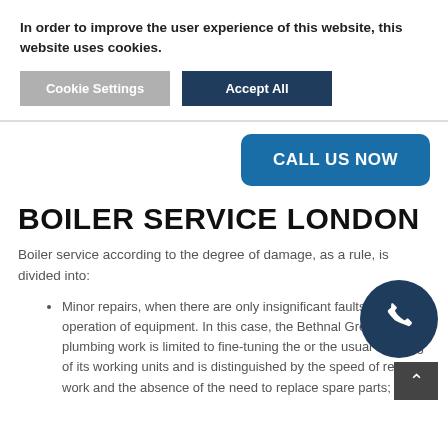In order to improve the user experience of this website, this website uses cookies.
Cookie Settings | Accept All
CALL US NOW
BOILER SERVICE LONDON
Boiler service according to the degree of damage, as a rule, is divided into:
Minor repairs, when there are only insignificant faults in the operation of equipment. In this case, the Bethnal Green plumbing work is limited to fine-tuning the or the usual cleaning of its working units and is distinguished by the speed of repair work and the absence of the need to replace spare parts;